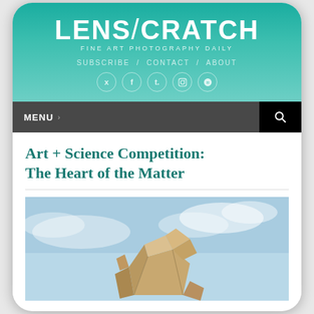[Figure (logo): LENSCRATCH logo with teal gradient background and tagline FINE ART PHOTOGRAPHY DAILY]
SUBSCRIBE / CONTACT / ABOUT
[Figure (infographic): Social media icons: Twitter, Facebook, Tumblr, Instagram, RSS]
MENU >
Art + Science Competition: The Heart of the Matter
[Figure (photo): Origami-like geometric paper sculpture against blue sky background]